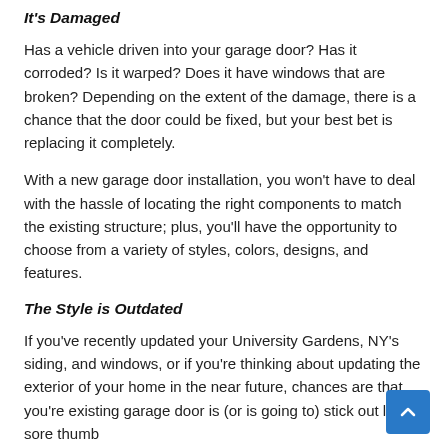It's Damaged
Has a vehicle driven into your garage door? Has it corroded? Is it warped? Does it have windows that are broken? Depending on the extent of the damage, there is a chance that the door could be fixed, but your best bet is replacing it completely.
With a new garage door installation, you won't have to deal with the hassle of locating the right components to match the existing structure; plus, you'll have the opportunity to choose from a variety of styles, colors, designs, and features.
The Style is Outdated
If you've recently updated your University Gardens, NY's siding, and windows, or if you're thinking about updating the exterior of your home in the near future, chances are that you're existing garage door is (or is going to) stick out like a sore thumb